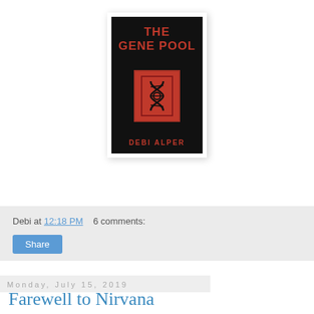[Figure (illustration): Book cover for 'The Gene Pool' by Debi Alper. Black background with red title text at top, a red bordered box containing a DNA double helix symbol in the center, and red author name at the bottom.]
Debi at 12:18 PM   6 comments:
Share
Monday, July 15, 2019
Farewell to Nirvana